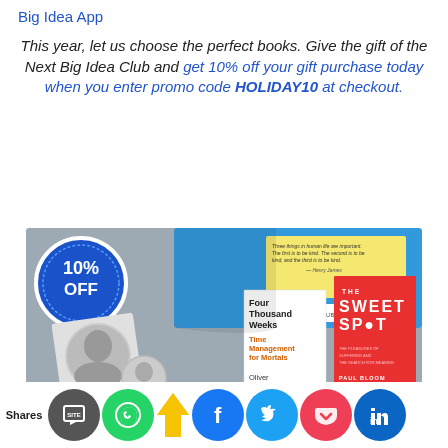Big Idea App
This year, let us choose the perfect books. Give the gift of the Next Big Idea Club and get 10% off your gift purchase today when you enter promo code HOLIDAY10 at checkout.
[Figure (photo): Photo of a Next Big Idea Club box opened with a 10% OFF badge, two author cards, and books 'Four Thousand Weeks: Time Management for Mortals' by Oliver Burkeman and 'The Sweet Spot' by Paul Bloom, with snowflake decorations.]
[Figure (infographic): Social sharing bar with Shares label and circles for various social platforms: SMS/Site, WhatsApp, lightbulb, Facebook, Twitter, Pocket, LinkedIn.]